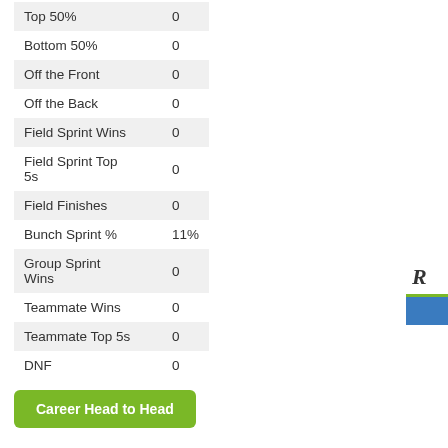| Stat | Value |
| --- | --- |
| Top 50% | 0 |
| Bottom 50% | 0 |
| Off the Front | 0 |
| Off the Back | 0 |
| Field Sprint Wins | 0 |
| Field Sprint Top 5s | 0 |
| Field Finishes | 0 |
| Bunch Sprint % | 11% |
| Group Sprint Wins | 0 |
| Teammate Wins | 0 |
| Teammate Top 5s | 0 |
| DNF | 0 |
Career Head to Head
Race History
2010 - 3 races